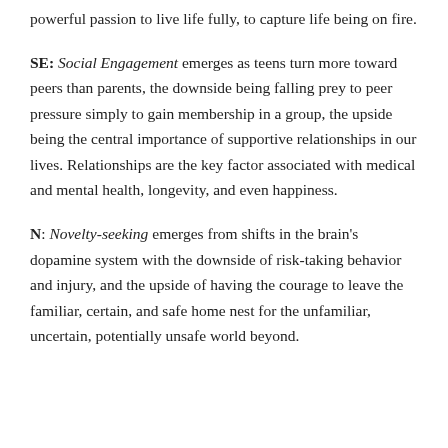powerful passion to live life fully, to capture life being on fire.
SE: Social Engagement emerges as teens turn more toward peers than parents, the downside being falling prey to peer pressure simply to gain membership in a group, the upside being the central importance of supportive relationships in our lives. Relationships are the key factor associated with medical and mental health, longevity, and even happiness.
N: Novelty-seeking emerges from shifts in the brain's dopamine system with the downside of risk-taking behavior and injury, and the upside of having the courage to leave the familiar, certain, and safe home nest for the unfamiliar, uncertain, potentially unsafe world beyond.